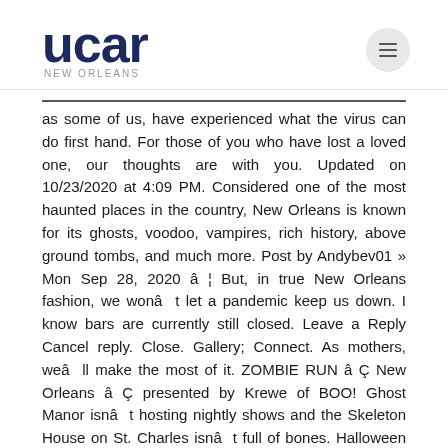ucar
as some of us, have experienced what the virus can do first hand. For those of you who have lost a loved one, our thoughts are with you. Updated on 10/23/2020 at 4:09 PM. Considered one of the most haunted places in the country, New Orleans is known for its ghosts, voodoo, vampires, rich history, above ground tombs, and much more. Post by Andybev01 » Mon Sep 28, 2020 â ¦ But, in true New Orleans fashion, we wonâ t let a pandemic keep us down. I know bars are currently still closed. Leave a Reply Cancel reply. Close. Gallery; Connect. As mothers, weâ ll make the most of it. ZOMBIE RUN â Ç New Orleans â Ç presented by Krewe of BOO! Ghost Manor isnâ t hosting nightly shows and the Skeleton House on St. Charles isnâ t full of bones. Halloween Booze Crawl New Orleans 2021. As daily COVID-19 cases â¦ Get your first look...